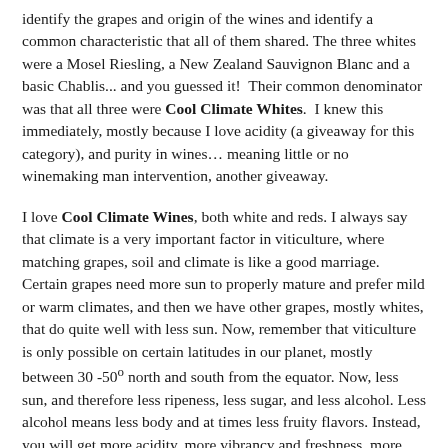identify the grapes and origin of the wines and identify a common characteristic that all of them shared. The three whites were a Mosel Riesling, a New Zealand Sauvignon Blanc and a basic Chablis... and you guessed it!  Their common denominator was that all three were Cool Climate Whites.  I knew this immediately, mostly because I love acidity (a giveaway for this category), and purity in wines… meaning little or no winemaking man intervention, another giveaway.
I love Cool Climate Wines, both white and reds. I always say that climate is a very important factor in viticulture, where matching grapes, soil and climate is like a good marriage. Certain grapes need more sun to properly mature and prefer mild or warm climates, and then we have other grapes, mostly whites, that do quite well with less sun. Now, remember that viticulture is only possible on certain latitudes in our planet, mostly between 30 -50º north and south from the equator. Now, less sun, and therefore less ripeness, less sugar, and less alcohol. Less alcohol means less body and at times less fruity flavors. Instead, you will get more acidity, more vibrancy and freshness, more green and mineral flavors and more elegance. You will also have more focus,